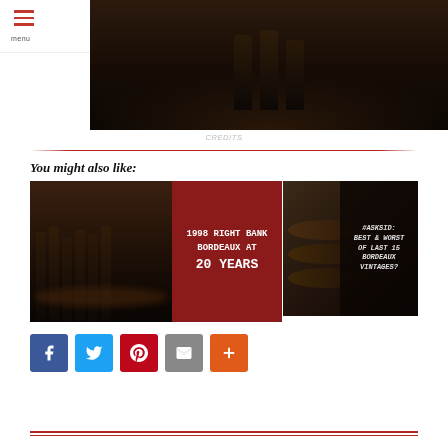The International Wine & Food Society
[Figure (photo): Dark photo of wine bottles from above on a surface]
CREDITS
You might also like:
[Figure (photo): 1998 Right Bank Bordeaux at 20 Years - related article thumbnail with wine bottles and red overlay text]
[Figure (photo): #AskSid: Best & Worst of Last 15 Bordeaux Vintages? - related article thumbnail with wine barrels]
[Figure (infographic): Social sharing buttons: Facebook, Twitter, Pinterest, Email, More]